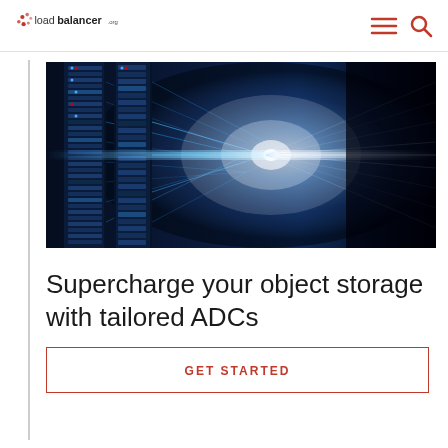loadbalancer.org
[Figure (photo): Data center server racks with blue glowing lights and a bright light beam perspective shot]
Supercharge your object storage with tailored ADCs
GET STARTED